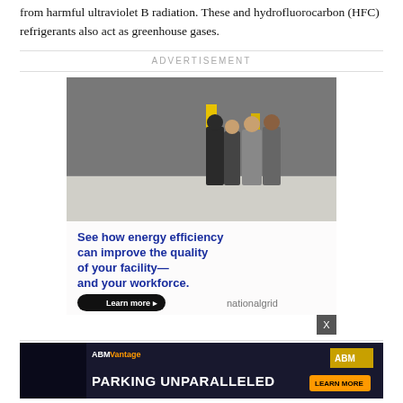from harmful ultraviolet B radiation. These and hydrofluorocarbon (HFC) refrigerants also act as greenhouse gases.
[Figure (photo): Advertisement banner for National Grid showing people walking in a warehouse facility, with bold blue text: 'See how energy efficiency can improve the quality of your facility— and your workforce.' with a Learn more button and nationalgrid logo.]
[Figure (photo): Advertisement banner for ABM Vantage showing 'PARKING UNPARALLELED' text with a Learn More button against a dark background.]